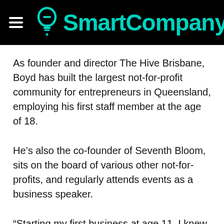SmartCompany
As founder and director The Hive Brisbane, Boyd has built the largest not-for-profit community for entrepreneurs in Queensland, employing his first staff member at the age of 18.
He's also the co-founder of Seventh Bloom, sits on the board of various other not-for-profits, and regularly attends events as a business speaker.
“Starting my first business at age 11, I knew I was destined to follow my own path. Not because others’ paths weren’t any good – they simply weren’t mine,”